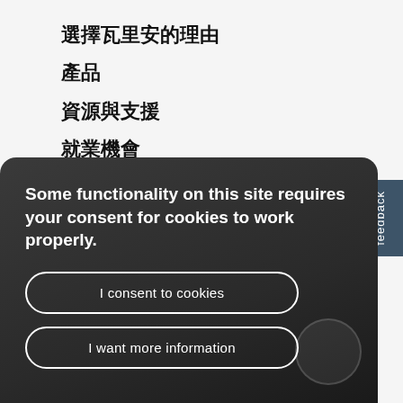選擇瓦里安的理由
產品
資源與支援
就業機會
新聞室
聯絡我們
Some functionality on this site requires your consent for cookies to work properly.
I consent to cookies
I want more information